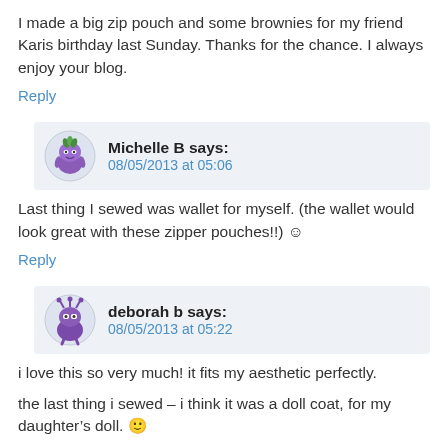I made a big zip pouch and some brownies for my friend Karis birthday last Sunday. Thanks for the chance. I always enjoy your blog.
Reply
Michelle B says:
08/05/2013 at 05:06
Last thing I sewed was wallet for myself. (the wallet would look great with these zipper pouches!!) ☺
Reply
[Figure (illustration): Purple cartoon monster avatar with antennae in circular frame]
deborah b says:
08/05/2013 at 05:22
i love this so very much! it fits my aesthetic perfectly.
the last thing i sewed – i think it was a doll coat, for my daughter’s doll. 🙂
thanks so much for the chance.